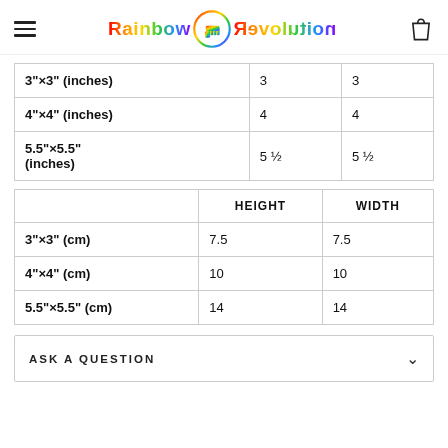Rainbow Revolution (logo with hamburger menu and bag icon)
|  |  |  |
| --- | --- | --- |
| 3"×3" (inches) | 3 | 3 |
| 4"×4" (inches) | 4 | 4 |
| 5.5"×5.5" (inches) | 5 ½ | 5 ½ |
|  | HEIGHT | WIDTH |
| --- | --- | --- |
| 3"×3" (cm) | 7.5 | 7.5 |
| 4"×4" (cm) | 10 | 10 |
| 5.5"×5.5" (cm) | 14 | 14 |
ASK A QUESTION